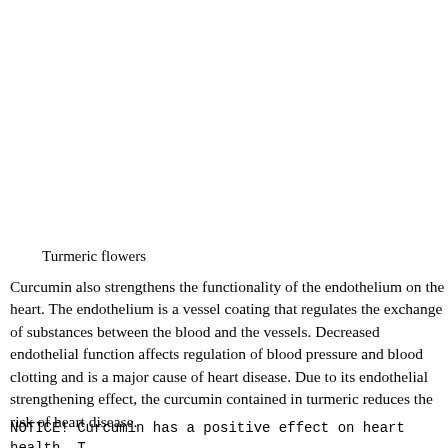Turmeric flowers
Curcumin also strengthens the functionality of the endothelium on the heart. The endothelium is a vessel coating that regulates the exchange of substances between the blood and the vessels. Decreased endothelial function affects regulation of blood pressure and blood clotting and is a major cause of heart disease. Due to its endothelial strengthening effect, the curcumin contained in turmeric reduces the risk of heart disease.
NOTICE! Curcumin has a positive effect on heart health. T